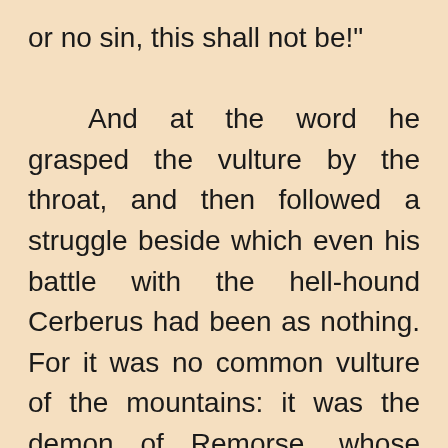or no sin, this shall not be!" And at the word he grasped the vulture by the throat, and then followed a struggle beside which even his battle with the hell-hound Cerberus had been as nothing. For it was no common vulture of the mountains: it was the demon of Remorse, whose beak had not left the heart of Prometheus one moment for thousands, and thousands of